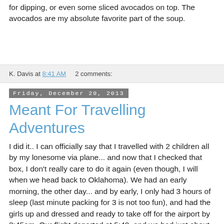for dipping, or even some sliced avocados on top. The avocados are my absolute favorite part of the soup.
K. Davis at 8:41 AM    2 comments:
Friday, December 20, 2013
Meant For Travelling Adventures
I did it.. I can officially say that I travelled with 2 children all by my lonesome via plane... and now that I checked that box, I don't really care to do it again (even though, I will when we head back to Oklahoma). We had an early morning, the other day... and by early, I only had 3 hours of sleep (last minute packing for 3 is not too fun), and had the girls up and dressed and ready to take off for the airport by 3:45am. Our flight departed at 5:40, and we had just about a 5 hour layover in Chicago... before arriving into Harrisburg at 4:20